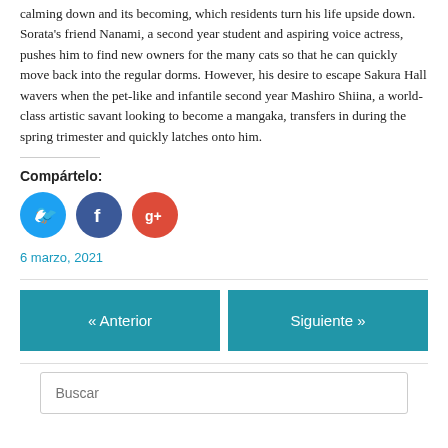calming down and its becoming, which residents turn his life upside down. Sorata's friend Nanami, a second year student and aspiring voice actress, pushes him to find new owners for the many cats so that he can quickly move back into the regular dorms. However, his desire to escape Sakura Hall wavers when the pet-like and infantile second year Mashiro Shiina, a world-class artistic savant looking to become a mangaka, transfers in during the spring trimester and quickly latches onto him.
Compártelo:
[Figure (other): Social media share buttons: Twitter (blue circle), Facebook (dark blue circle), Google+ (red circle)]
6 marzo, 2021
« Anterior
Siguiente »
Buscar